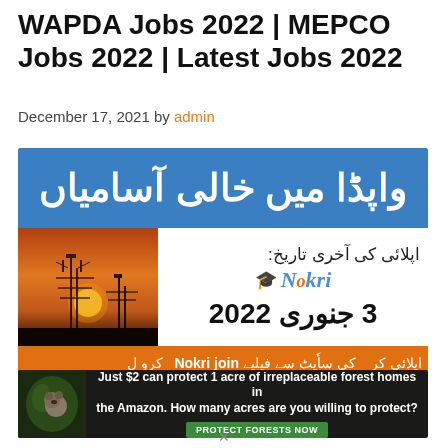WAPDA Jobs 2022 | MEPCO Jobs 2022 | Latest Jobs 2022
December 17, 2021 by admin
[Figure (infographic): WAPDA job advertisement infographic with Urdu text 'واپڈا میں خالی آسامیاں' (Vacant Positions in WAPDA) on blue banner, electric tower silhouette at sunset on left, Nokri logo, last date of application text in Urdu '3 جنوری 2022', and orange banner with Urdu application instructions at bottom.]
[Figure (infographic): Advertisement banner: Just $2 can protect 1 acre of irreplaceable forest homes in the Amazon. How many acres are you willing to protect? PROTECT FORESTS NOW]